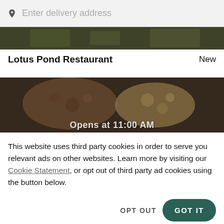Enter delivery address
[Figure (photo): Partial food image strip at top, dark greenish-brown tone]
Lotus Pond Restaurant
New
[Figure (photo): Food image strip showing fried and breaded dishes with overlay text 'Opens at 11:00 AM']
This website uses third party cookies in order to serve you relevant ads on other websites. Learn more by visiting our Cookie Statement, or opt out of third party ad cookies using the button below.
OPT OUT
GOT IT